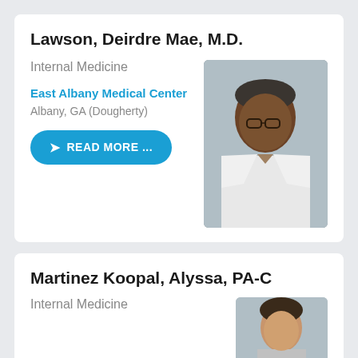Lawson, Deirdre Mae, M.D.
Internal Medicine
East Albany Medical Center
Albany, GA (Dougherty)
READ MORE ...
[Figure (photo): Professional headshot of Dr. Lawson, an African American woman wearing glasses and a white medical coat, smiling.]
Martinez Koopal, Alyssa, PA-C
Internal Medicine
[Figure (photo): Professional headshot of Alyssa Martinez Koopal, partially visible at the bottom of the page.]